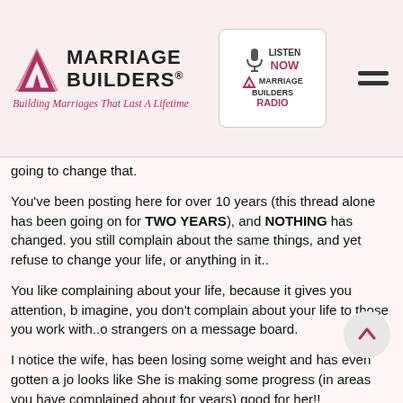Marriage Builders® — Building Marriages That Last A Lifetime
going to change that.
You've been posting here for over 10 years (this thread alone has been going on for TWO YEARS), and NOTHING has changed. you still complain about the same things, and yet refuse to change your life, or anything in it..
You like complaining about your life, because it gives you attention, b imagine, you don't complain about your life to those you work with..o strangers on a message board.
I notice the wife, has been losing some weight and has even gotten a jo looks like She is making some progress (in areas you have complained about for years) good for her!!
Maybe as she continues to grow in ways your refusing to, she will do j what you want her to do--what you've always wanted her to do..and t is LEAVE YOU!!! Then you can complain some more about "sh nee